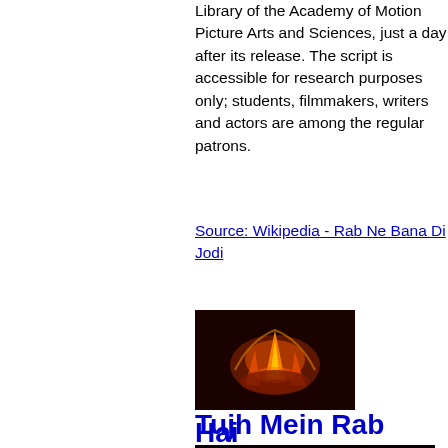Library of the Academy of Motion Picture Arts and Sciences, just a day after its release. The script is accessible for research purposes only; students, filmmakers, writers and actors are among the regular patrons.
Source: Wikipedia - Rab Ne Bana Di Jodi
[Figure (photo): Still image from Tujh Mein Rab Dikhta Hai showing a flame/fire scene with hands]
Tujh Mein Rab Dikhta Hai
[Figure (photo): Rockstar movie title card/poster with orange stylized text on dark background]